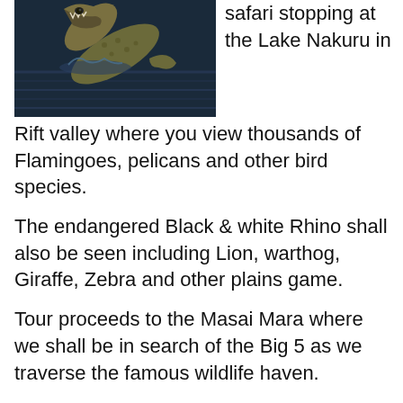[Figure (photo): A crocodile or large reptile emerging from dark water, head raised with open mouth, textured scaly skin visible.]
safari stopping at the Lake Nakuru in Rift valley where you view thousands of Flamingoes, pelicans and other bird species.
The endangered Black & white Rhino shall also be seen including Lion, warthog, Giraffe, Zebra and other plains game.
Tour proceeds to the Masai Mara where we shall be in search of the Big 5 as we traverse the famous wildlife haven.
Safari accommodation is offered in economy , standard or luxury lodge or tented camps depending on your budget / style.
Safari is done with transport in comfort...